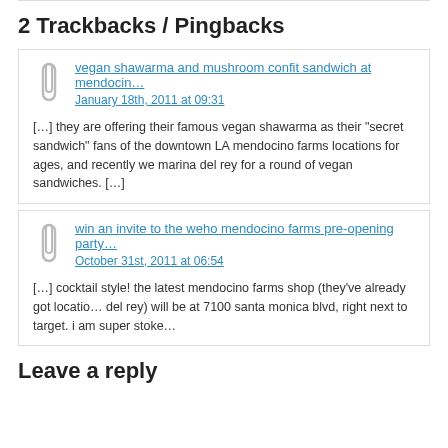2 Trackbacks / Pingbacks
vegan shawarma and mushroom confit sandwich at mendocino…
January 18th, 2011 at 09:31
[…] they are offering their famous vegan shawarma as their "secret sandwich" fans of the downtown LA mendocino farms locations for ages, and recently we marina del rey for a round of vegan sandwiches. […]
win an invite to the weho mendocino farms pre-opening party…
October 31st, 2011 at 06:54
[…] cocktail style! the latest mendocino farms shop (they've already got locations del rey) will be at 7100 santa monica blvd, right next to target. i am super stoke
Leave a reply